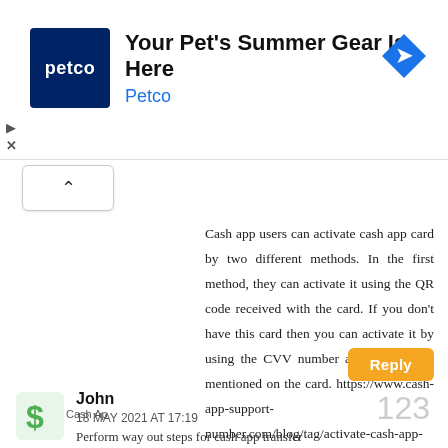[Figure (screenshot): Petco advertisement banner with logo and navigation icon. Text: 'Your Pet's Summer Gear Is Here' and 'Petco']
Cash app users can activate cash app card by two different methods. In the first method, they can activate it using the QR code received with the card. If you don’t have this card then you can activate it by using the CVV number and expiry date mentioned on the card. https://www.cash-app-support-number.com/blog/tag/activate-cash-app-card/
Reply
John
18 MAY 2021 AT 17:19
Perform way out steps for cash app transfer